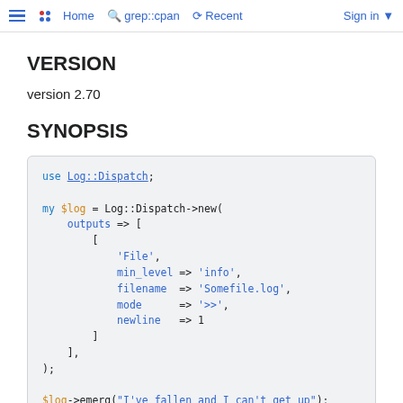≡  Home  grep::cpan  Recent  Sign in
VERSION
version 2.70
SYNOPSIS
use Log::Dispatch;
my $log = Log::Dispatch->new(
    outputs => [
        [
            'File',
            min_level => 'info',
            filename  => 'Somefile.log',
            mode      => '>>',
            newline   => 1
        ]
    ],
);

$log->emerg("I've fallen and I can't get up");